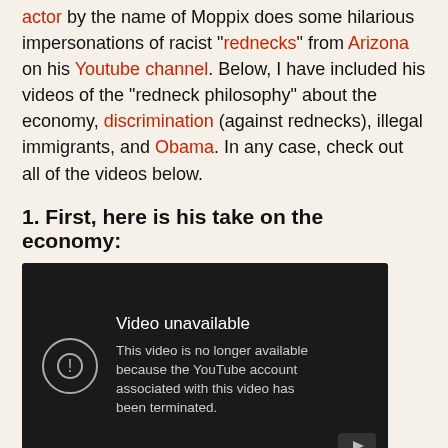actor by the name of Moppix does some hilarious impersonations of racist "rednecks" from Arizona on his Youtube channel. Below, I have included his videos of the "redneck philosophy" about the economy, discrimination (against rednecks), illegal immigrants, and Obama. In any case, check out all of the videos below.
1. First, here is his take on the economy:
[Figure (screenshot): YouTube video embed showing 'Video unavailable' message. Dark background with a circle-exclamation icon and text: 'Video unavailable. This video is no longer available because the YouTube account associated with this video has been terminated.' YouTube logo visible in bottom right corner.]